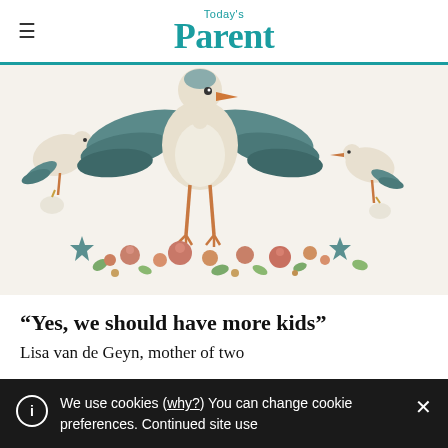Today's Parent
[Figure (illustration): Decorative illustration of storks carrying baby bundles, surrounded by flowers and leaves, rendered in a papercraft/collage style with teal, beige, and terracotta colors.]
“Yes, we should have more kids”
Lisa van de Geyn, mother of two
We use cookies (why?) You can change cookie preferences. Continued site use